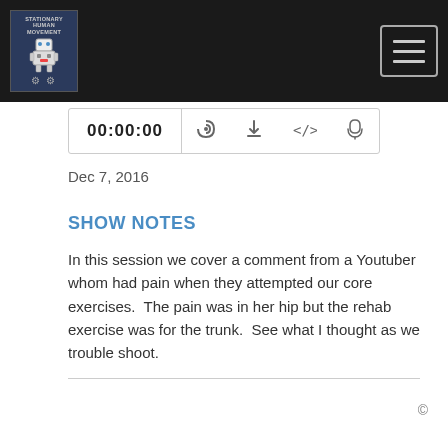Stationary Human Movement podcast page header with logo and hamburger menu
[Figure (screenshot): Podcast player bar showing timestamp 00:00:00 and icons for RSS, download, embed code, and user]
Dec 7, 2016
SHOW NOTES
In this session we cover a comment from a Youtuber whom had pain when they attempted our core exercises.  The pain was in her hip but the rehab exercise was for the trunk.  See what I thought as we trouble shoot.